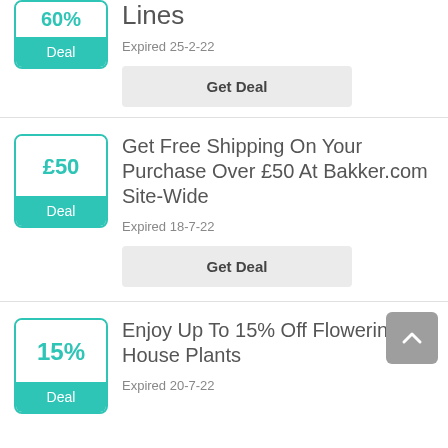[Figure (other): Deal badge showing 60% off with teal Deal label (partially visible at top)]
Lines
Expired 25-2-22
Get Deal
[Figure (other): Deal badge showing £50 with teal Deal label]
Get Free Shipping On Your Purchase Over £50 At Bakker.com Site-Wide
Expired 18-7-22
Get Deal
[Figure (other): Deal badge showing 15% with teal Deal label]
Enjoy Up To 15% Off Flowering House Plants
Expired 20-7-22